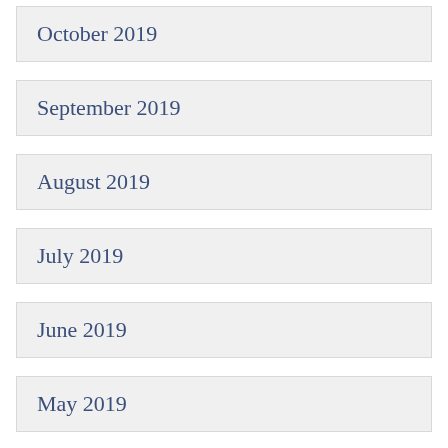October 2019
September 2019
August 2019
July 2019
June 2019
May 2019
April 2019